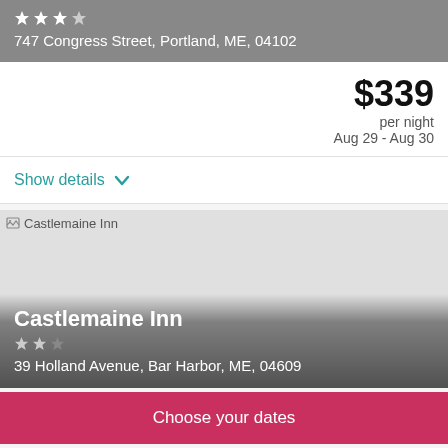747 Congress Street, Portland, ME, 04102
$339 per night Aug 29 - Aug 30
Show details
[Figure (photo): Castlemaine Inn hotel photo placeholder]
Castlemaine Inn
39 Holland Avenue, Bar Harbor, ME, 04609
Choose your dates